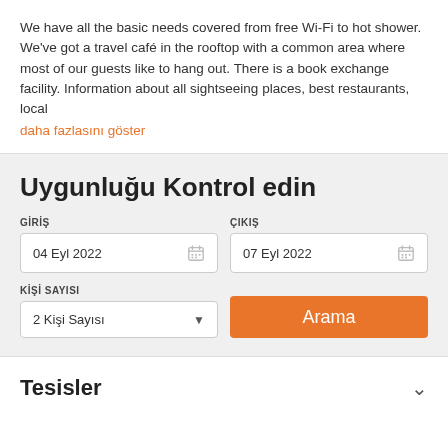We have all the basic needs covered from free Wi-Fi to hot shower. We've got a travel café in the rooftop with a common area where most of our guests like to hang out. There is a book exchange facility. Information about all sightseeing places, best restaurants, local
daha fazlasını göster
Uygunluğu Kontrol edin
GİRİŞ: 04 Eyl 2022
ÇIKIŞ: 07 Eyl 2022
KİŞİ SAYISI: 2 Kişi Sayısı
Arama
Tesisler